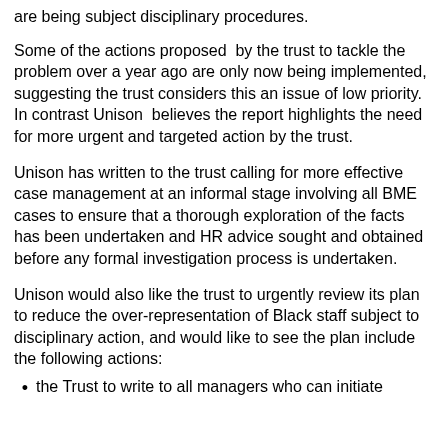are being subject disciplinary procedures.
Some of the actions proposed  by the trust to tackle the problem over a year ago are only now being implemented, suggesting the trust considers this an issue of low priority.  In contrast Unison  believes the report highlights the need for more urgent and targeted action by the trust.
Unison has written to the trust calling for more effective case management at an informal stage involving all BME cases to ensure that a thorough exploration of the facts has been undertaken and HR advice sought and obtained before any formal investigation process is undertaken.
Unison would also like the trust to urgently review its plan to reduce the over-representation of Black staff subject to disciplinary action, and would like to see the plan include the following actions:
the Trust to write to all managers who can initiate